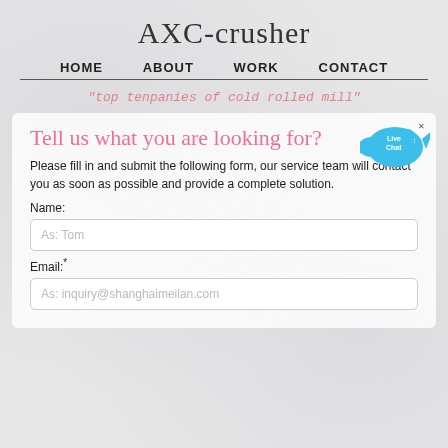AXC-crusher
HOME  ABOUT  WORK  CONTACT
"top tenpanies of cold rolled mill"
Tell us what you are looking for?
Please fill in and submit the following form, our service team will contact you as soon as possible and provide a complete solution.
Name:
As: Tom
Email:*
As: inquiry@shanghaimeilan.com